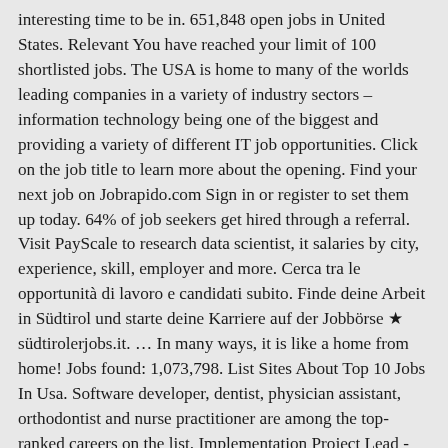interesting time to be in. 651,848 open jobs in United States. Relevant You have reached your limit of 100 shortlisted jobs. The USA is home to many of the worlds leading companies in a variety of industry sectors – information technology being one of the biggest and providing a variety of different IT job opportunities. Click on the job title to learn more about the opening. Find your next job on Jobrapido.com Sign in or register to set them up today. 64% of job seekers get hired through a referral. Visit PayScale to research data scientist, it salaries by city, experience, skill, employer and more. Cerca tra le opportunità di lavoro e candidati subito. Finde deine Arbeit in Südtirol und starte deine Karriere auf der Jobbörse ★ südtirolerjobs.it. … In many ways, it is like a home from home! Jobs found: 1,073,798. List Sites About Top 10 Jobs In Usa. Software developer, dentist, physician assistant, orthodontist and nurse practitioner are among the top-ranked careers on the list. Implementation Project Lead - South-east America Working in this high growth company that offers a Mobile Device Management platform to provide flexible, contextual enforcement of a company's mobile device usage policy. Amazon. Most apartments provide the option of a three-month, six-month or one-year lease. The summer camp USA option offers the chance to work a summer with kids on summer camp, then travel a bit after the season. Jobs abroad: